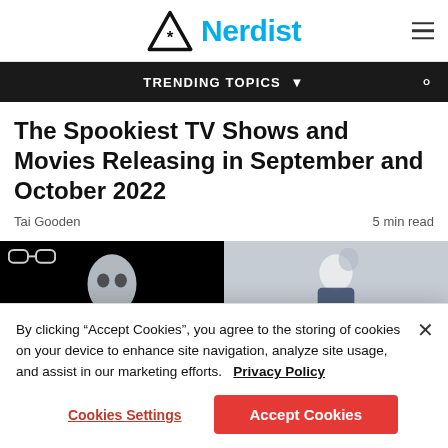Nerdist
TRENDING TOPICS
The Spookiest TV Shows and Movies Releasing in September and October 2022
Tai Gooden   5 min read
[Figure (photo): Two-panel image: left panel shows a masked figure on black background with goggles icon overlay; right panel shows a masked figure on blue-grey background.]
By clicking "Accept Cookies", you agree to the storing of cookies on your device to enhance site navigation, analyze site usage, and assist in our marketing efforts.   Privacy Policy
Cookies Settings   Accept Cookies